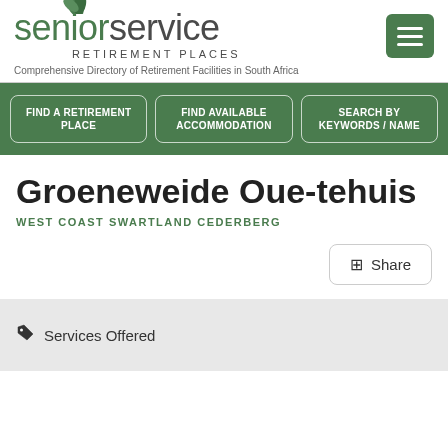[Figure (logo): Senior Service Retirement Places logo with green leaf icon above 'senior' text]
Comprehensive Directory of Retirement Facilities in South Africa
FIND A RETIREMENT PLACE
FIND AVAILABLE ACCOMMODATION
SEARCH BY KEYWORDS / NAME
Groeneweide Oue-tehuis
WEST COAST SWARTLAND CEDERBERG
+ Share
Services Offered